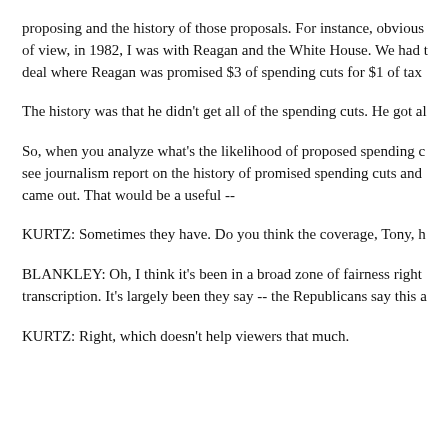proposing and the history of those proposals. For instance, obvious of view, in 1982, I was with Reagan and the White House. We had t deal where Reagan was promised $3 of spending cuts for $1 of tax
The history was that he didn't get all of the spending cuts. He got al
So, when you analyze what's the likelihood of proposed spending c see journalism report on the history of promised spending cuts and came out. That would be a useful --
KURTZ: Sometimes they have. Do you think the coverage, Tony, h
BLANKLEY: Oh, I think it's been in a broad zone of fairness right transcription. It's largely been they say -- the Republicans say this a
KURTZ: Right, which doesn't help viewers that much.